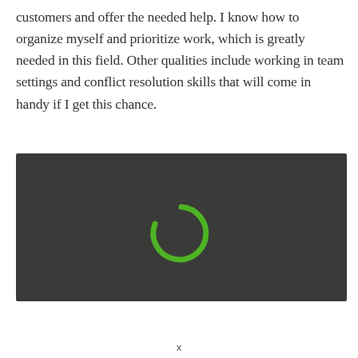customers and offer the needed help. I know how to organize myself and prioritize work, which is greatly needed in this field. Other qualities include working in team settings and conflict resolution skills that will come in handy if I get this chance.
[Figure (screenshot): Dark gray/charcoal rectangular area with a green loading spinner arc (partial circle, approximately 270 degrees) centered slightly to the right of middle.]